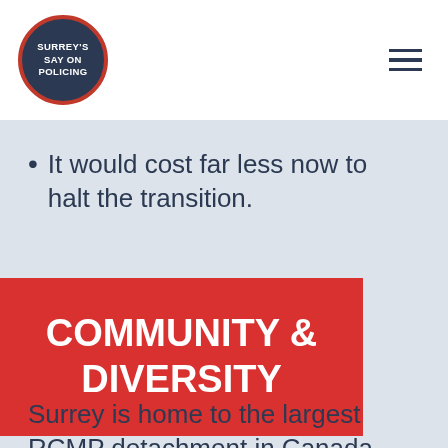[Figure (logo): Surrey's Say On Policing circular logo with dark blue background and red border]
It would cost far less now to halt the transition.
COMMUNITY & DIVERSITY
Surrey is home to the largest RCMP detachment in Canada